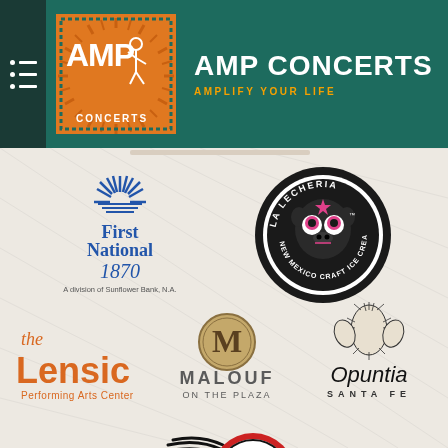[Figure (logo): AMP Concerts logo - stick figure with rays on orange background with teal border and dotted edges]
AMP CONCERTS
AMPLIFY YOUR LIFE
[Figure (logo): First National 1870 - A division of Sunflower Bank, N.A. logo with blue sunrise/fan emblem]
[Figure (logo): La Lecheria New Mexico Craft Ice Cream circular logo with sugar skull cow]
[Figure (logo): The Lensic Performing Arts Center logo in orange]
[Figure (logo): Malouf on the Plaza logo with circular M emblem]
[Figure (logo): Opuntia Santa Fe logo with cactus illustration]
[Figure (logo): Railyard logo - circular with swoosh lines, partially visible at bottom]